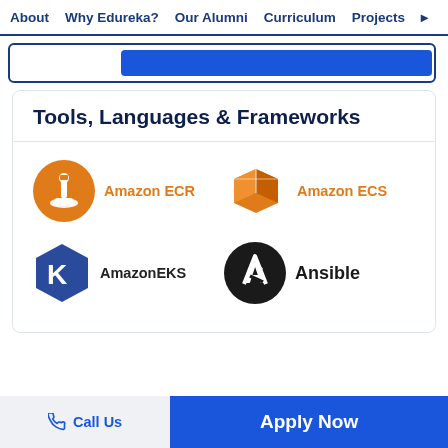About  Why Edureka?  Our Alumni  Curriculum  Projects
Tools, Languages & Frameworks
[Figure (logo): Amazon ECR logo - orange circle with a paint brush/tool icon, with orange text 'Amazon ECR']
[Figure (logo): Amazon ECS logo - orange 3D box/container icon, with orange text 'Amazon ECS']
[Figure (logo): Amazon EKS logo - dark blue hexagon with letter K, with dark text 'Amazon EKS']
[Figure (logo): Ansible logo - black circle with white upward arrow/A icon, with dark text 'Ansible']
Call Us
Apply Now